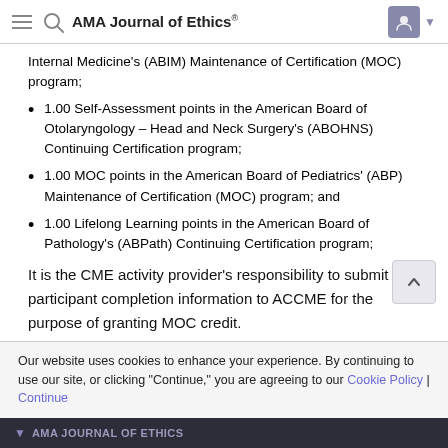AMA Journal of Ethics®
Internal Medicine's (ABIM) Maintenance of Certification (MOC) program;
1.00 Self-Assessment points in the American Board of Otolaryngology – Head and Neck Surgery's (ABOHNS) Continuing Certification program;
1.00 MOC points in the American Board of Pediatrics' (ABP) Maintenance of Certification (MOC) program; and
1.00 Lifelong Learning points in the American Board of Pathology's (ABPath) Continuing Certification program;
It is the CME activity provider's responsibility to submit participant completion information to ACCME for the purpose of granting MOC credit.
Our website uses cookies to enhance your experience. By continuing to use our site, or clicking "Continue," you are agreeing to our Cookie Policy | Continue
AMA JOURNAL OF ETHICS